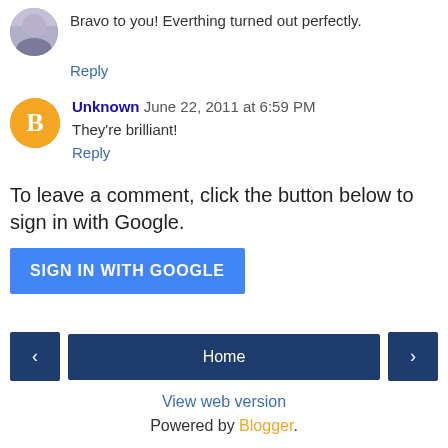Bravo to you! Everthing turned out perfectly.
Reply
Unknown  June 22, 2011 at 6:59 PM
They're brilliant!
Reply
To leave a comment, click the button below to sign in with Google.
SIGN IN WITH GOOGLE
Home
View web version
Powered by Blogger.